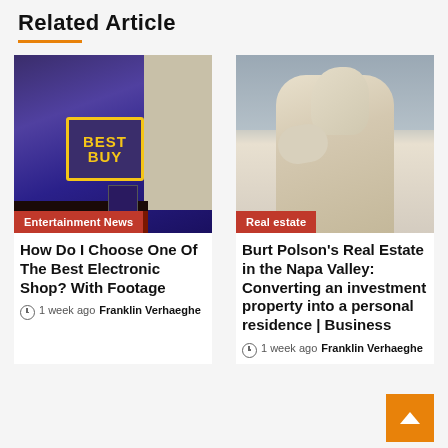Related Article
[Figure (photo): Best Buy store exterior with dark blue/purple walls and yellow Best Buy logo sign, red storefront]
Entertainment News
How Do I Choose One Of The Best Electronic Shop? With Footage
1 week ago   Franklin Verhaeghe
[Figure (photo): White marble statue of a bearded man in contemplative pose against cloudy sky]
Real estate
Burt Polson's Real Estate in the Napa Valley: Converting an investment property into a personal residence | Business
1 week ago   Franklin Verhaeghe